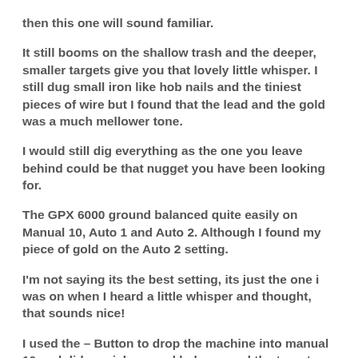then this one will sound familiar.
It still booms on the shallow trash and the deeper, smaller targets give you that lovely little whisper. I still dug small iron like hob nails and the tiniest pieces of wire but I found that the lead and the gold was a much mellower tone.
I would still dig everything as the one you leave behind could be that nugget you have been looking for.
The GPX 6000 ground balanced quite easily on Manual 10, Auto 1 and Auto 2. Although I found my piece of gold on the Auto 2 setting.
I'm not saying its the best setting, its just the one i was on when I heard a little whisper and thought, that sounds nice!
I used the – Button to drop the machine into manual 10 and did a quick ground balance and the target doubled in response. It was